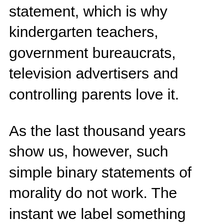statement, which is why kindergarten teachers, government bureaucrats, television advertisers and controlling parents love it.
As the last thousand years show us, however, such simple binary statements of morality do not work. The instant we label something “good,” everyone with bad intentions will go over to it and adopt it as camouflage. In addition, none of our problems are that simple. As they are in our inner lives, our problems as a society involve self-discipline, getting organized and not